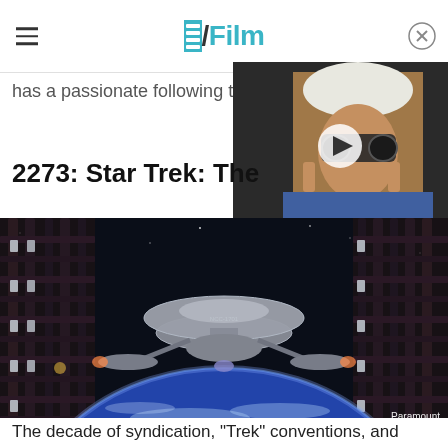/Film
has a passionate following t
[Figure (screenshot): Video thumbnail showing an elderly man with white hair wearing goggle-like glasses, with a play button overlay]
2273: Star Trek: The
[Figure (photo): Star Trek starship Enterprise viewed through a space station docking bay frame, with Earth visible below, Paramount credit in lower right]
The decade of syndication, "Trek" conventions, and